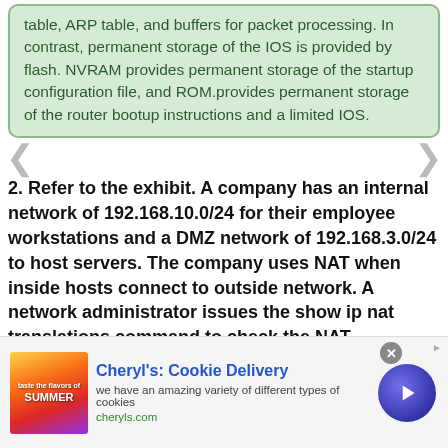table, ARP table, and buffers for packet processing. In contrast, permanent storage of the IOS is provided by flash. NVRAM provides permanent storage of the startup configuration file, and ROM.provides permanent storage of the router bootup instructions and a limited IOS.
2. Refer to the exhibit. A company has an internal network of 192.168.10.0/24 for their employee workstations and a DMZ network of 192.168.3.0/24 to host servers. The company uses NAT when inside hosts connect to outside network. A network administrator issues the show ip nat translations command to check the NAT configurations. Which one of source IPv4 addresses is translated by R1 with PAT
[Figure (screenshot): Advertisement banner: Cheryl's Cookie Delivery - we have an amazing variety of different types of cookies. cheryls.com]